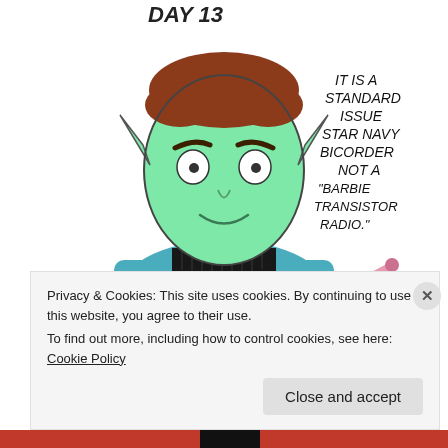[Figure (illustration): Hand-drawn comic illustration of a green-skinned elf-like alien character with pointed ears, red/brown hair, wide eyes, wearing a teal/blue Star Trek-style uniform with a black turtleneck collar and a delta shield badge. The character holds a pink object (possibly a tricorder/device). Text in handwritten style reads 'DAY 13' at top left, and a speech bubble on the right reads: 'IT IS A STANDARD ISSUE STAR NAVY BICORDER NOT A "BARBIE TRANSISTOR RADIO."']
Privacy & Cookies: This site uses cookies. By continuing to use this website, you agree to their use.
To find out more, including how to control cookies, see here: Cookie Policy